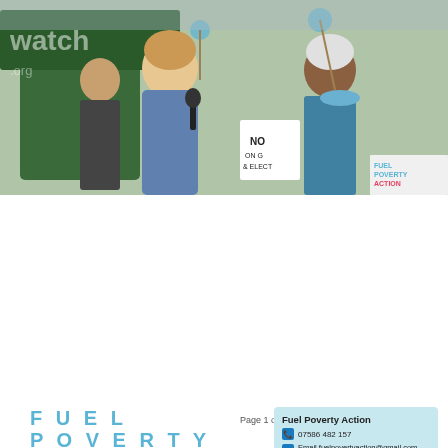[Figure (photo): Outdoor protest scene with people holding pinwheels and signs. A woman speaks into a microphone, another holds a banner. Signs reference gas and electricity. A Fuel Poverty Action Energy Bill of Rights leaflet is visible.]
FUEL POVERTY ACTION
Page 1 of 1
Fuel Poverty Action
07586 482 157
Email fuelpovertyaction@gmail.com
Twitter: @FuelPovAction
facebook.com/fuelpovertyaction
Energy Bill of Rights
1. We all have the right to affordable energy to meet our basic needs.
2. We all have the right to energy that does not harm us, the environment, or the climate.
3. We all have the right to energy that does not threaten health, safety
Number of customers killed by fuel poverty: 10,000 in 2012/13
Date of Bill:
Declared May 2014